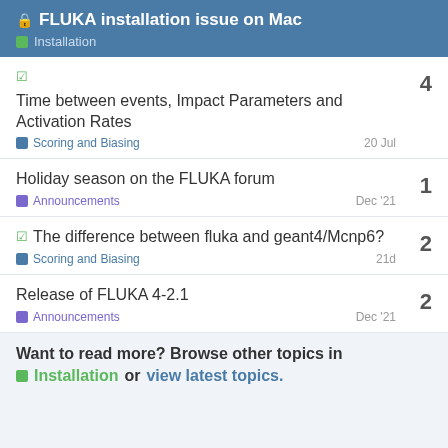🔒 FLUKA installation issue on Mac — Installation
Time between events, Impact Parameters and Activation Rates — Scoring and Biasing — 20 Jul — 4 replies
Holiday season on the FLUKA forum — Announcements — Dec '21 — 1 reply
The difference between fluka and geant4/Mcnp6? — Scoring and Biasing — 21d — 2 replies
Release of FLUKA 4-2.1 — Announcements — Dec '21 — 2 replies
Want to read more? Browse other topics in Installation or view latest topics.